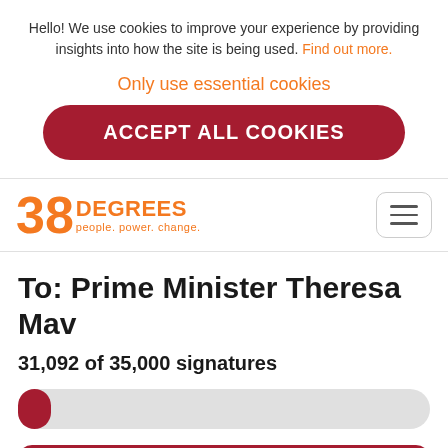Hello! We use cookies to improve your experience by providing insights into how the site is being used. Find out more.
Only use essential cookies
ACCEPT ALL COOKIES
[Figure (logo): 38 Degrees logo — orange '38' with 'DEGREES' and tagline 'people. power. change.']
To: Prime Minister Theresa Mav
31,092 of 35,000 signatures
SIGN